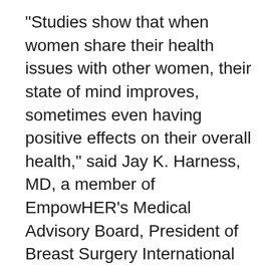"Studies show that when women share their health issues with other women, their state of mind improves, sometimes even having positive effects on their overall health," said Jay K. Harness, MD, a member of EmpowHER's Medical Advisory Board, President of Breast Surgery International and breast surgeon in Orange County, Calif. "For example, a recent report from the California HealthCare Foundation reported that when patients managing the same chronic condition share observations with each other, their collective wisdom can yield clinical insights well beyond the understanding of any single patient or physician."